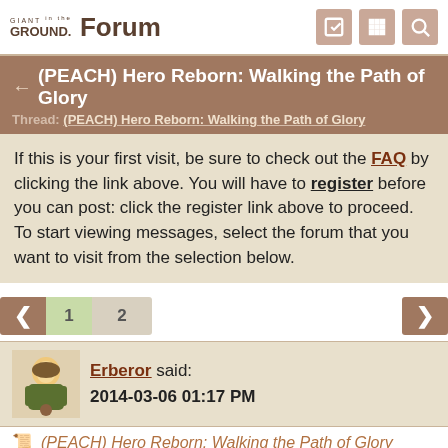GIANT in the PLAYGROUND Forum
(PEACH) Hero Reborn: Walking the Path of Glory
Thread: (PEACH) Hero Reborn: Walking the Path of Glory
If this is your first visit, be sure to check out the FAQ by clicking the link above. You will have to register before you can post: click the register link above to proceed. To start viewing messages, select the forum that you want to visit from the selection below.
1  2
Erberor said:
2014-03-06 01:17 PM
(PEACH) Hero Reborn: Walking the Path of Glory
Hero
Many walk the path of glory. Some choose the path of martial skill, some